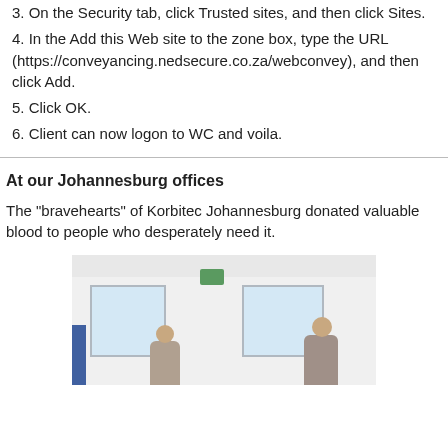3. On the Security tab, click Trusted sites, and then click Sites.
4. In the Add this Web site to the zone box, type the URL (https://conveyancing.nedsecure.co.za/webconvey), and then click Add.
5. Click OK.
6. Client can now logon to WC and voila.
At our Johannesburg offices
The "bravehearts" of Korbitec Johannesburg donated valuable blood to people who desperately need it.
[Figure (photo): Photo of a room with white walls, windows, green exit sign, and two people standing inside.]